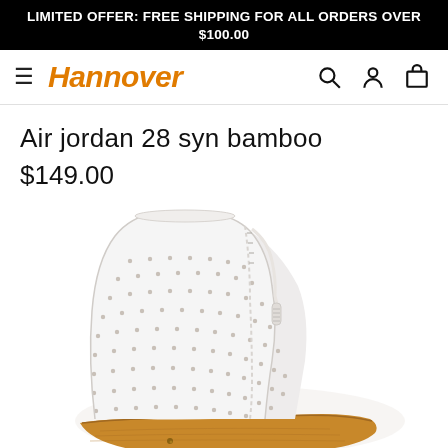LIMITED OFFER: FREE SHIPPING FOR ALL ORDERS OVER $100.00
Hannover
Air jordan 28 syn bamboo
$149.00
[Figure (photo): White perforated leather ankle boot with bamboo sole and zip-pull detail, photographed on white background]